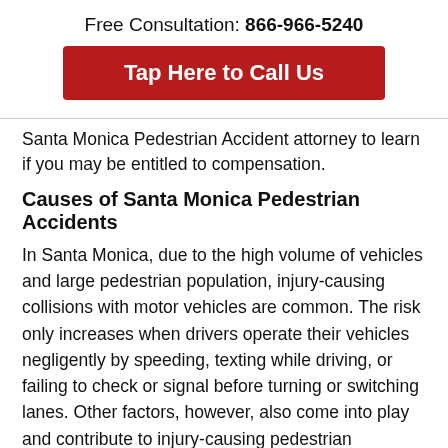Free Consultation: 866-966-5240
Tap Here to Call Us
Santa Monica Pedestrian Accident attorney to learn if you may be entitled to compensation.
Causes of Santa Monica Pedestrian Accidents
In Santa Monica, due to the high volume of vehicles and large pedestrian population, injury-causing collisions with motor vehicles are common. The risk only increases when drivers operate their vehicles negligently by speeding, texting while driving, or failing to check or signal before turning or switching lanes. Other factors, however, also come into play and contribute to injury-causing pedestrian accidents. Nearly 70 percent of pedestrian accidents occur outside of intersections with a marked